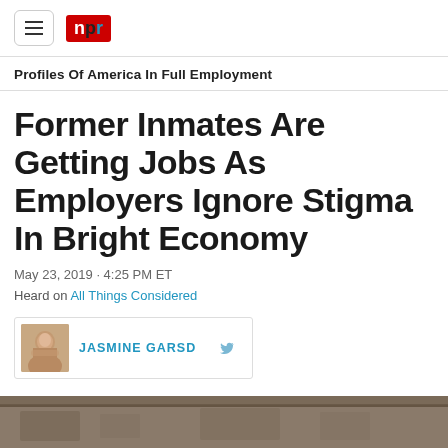NPR navigation header with logo
Profiles Of America In Full Employment
Former Inmates Are Getting Jobs As Employers Ignore Stigma In Bright Economy
May 23, 2019 · 4:25 PM ET
Heard on All Things Considered
JASMINE GARSD
[Figure (photo): Partial bottom photo of what appears to be people in a room, cropped at bottom of page]